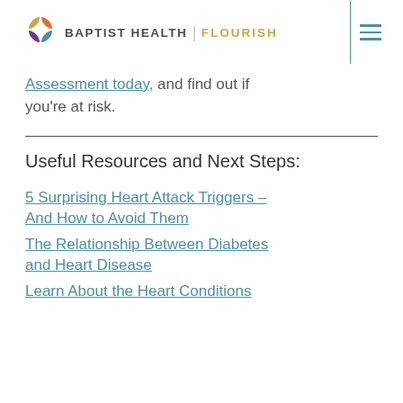BAPTIST HEALTH | FLOURISH
Assessment today, and find out if you're at risk.
Useful Resources and Next Steps:
5 Surprising Heart Attack Triggers – And How to Avoid Them
The Relationship Between Diabetes and Heart Disease
Learn About the Heart Conditions